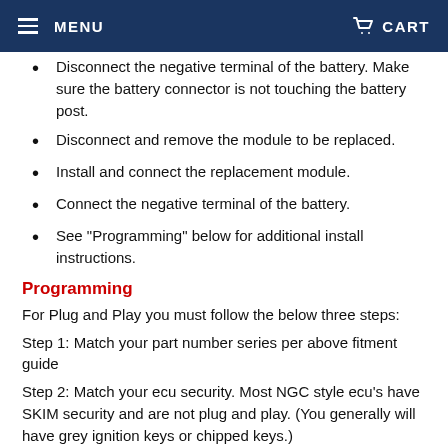MENU   CART
Disconnect the negative terminal of the battery. Make sure the battery connector is not touching the battery post.
Disconnect and remove the module to be replaced.
Install and connect the replacement module.
Connect the negative terminal of the battery.
See "Programming" below for additional install instructions.
Programming
For Plug and Play you must follow the below three steps:
Step 1: Match your part number series per above fitment guide
Step 2: Match your ecu security. Most NGC style ecu's have SKIM security and are not plug and play. (You generally will have grey ignition keys or chipped keys.)